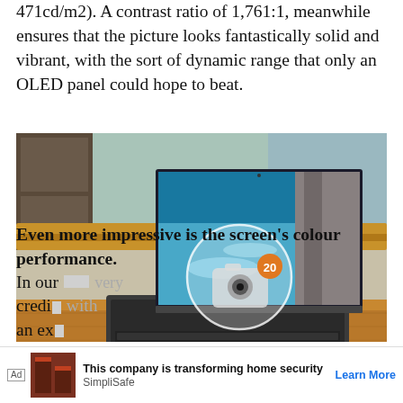471cd/m2). A contrast ratio of 1,761:1, meanwhile ensures that the picture looks fantastically solid and vibrant, with the sort of dynamic range that only an OLED panel could hope to beat.
[Figure (photo): A laptop computer open on a wooden desk with a scenic waterfall image on screen, with a circular camera/gallery overlay icon showing the number 20 in an orange badge]
Even more impressive is the screen's colour performance. In our ... the XPS 13 2-in-1 delivers a very credi... with an ex...
[Figure (infographic): Advertisement banner: 'This company is transforming home security' by SimplliSafe with a Learn More CTA]